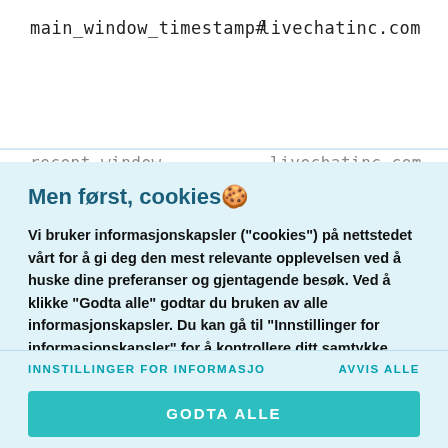main_window_timestamp#	livechatinc.com
recent_window	livechatinc.com
Men først, cookies 🍪
Vi bruker informasjonskapsler ("cookies") på nettstedet vårt for å gi deg den mest relevante opplevelsen ved å huske dine preferanser og gjentagende besøk. Ved å klikke "Godta alle" godtar du bruken av alle informasjonskapsler. Du kan gå til "Innstillinger for informasjonskapsler" for å kontrollere ditt samtykke.
INNSTILLINGER FOR INFORMASJO
AVVIS ALLE
GODTA ALLE